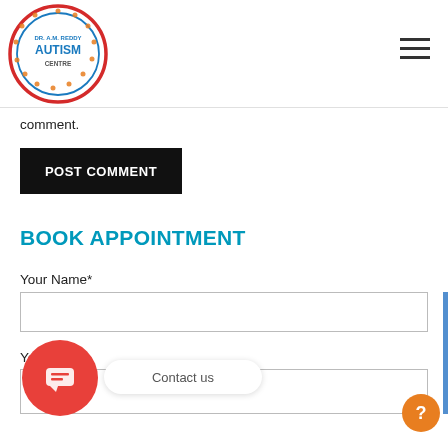[Figure (logo): DR. A.M. REDDY AUTISM CENTRE circular logo with children figures around the border, red and blue colors]
comment.
POST COMMENT
BOOK APPOINTMENT
Your Name*
Yo  be
Contact us